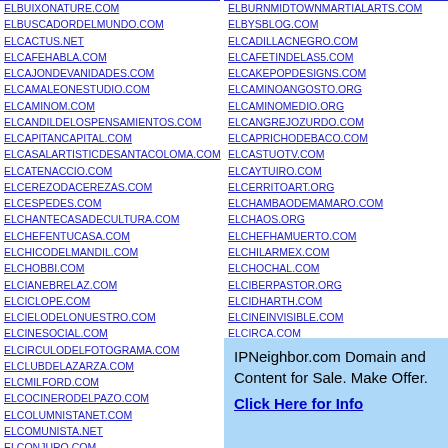ELBUIXONATURE.COM
ELBUSCADORDELMUNDO.COM
ELCACTUS.NET
ELCAFEHABLA.COM
ELCAJONDEVANIDADES.COM
ELCAMALEONESTUDIO.COM
ELCAMINOM.COM
ELCANDILDELOSPENSAMIENTOS.COM
ELCAPITANCAPITAL.COM
ELCASALARTISTICDESANTACOLOMA.COM
ELCATENACCIO.COM
ELCEREZODACEREZAS.COM
ELCESPEDES.COM
ELCHANTECASADECULTURA.COM
ELCHEFENTUCASA.COM
ELCHICODELMANDIL.COM
ELCHOBBI.COM
ELCIANEBRELAZ.COM
ELCICLOPE.COM
ELCIELODELONUESTRO.COM
ELCINESOCIAL.COM
ELCIRCULODELFOTOGRAMA.COM
ELCLUBDELAZARZA.COM
ELCMILFORD.COM
ELCOCINERODELPAZO.COM
ELCOLUMNISTANET.COM
ELCOMUNISTA.NET
ELCONJURO.COM
ELBURNMIDTOWNMARTIALARTS.COM
ELBYSBLOG.COM
ELCADILLACNEGRO.COM
ELCAFETINDELAS5.COM
ELCAKEPOPDESIGNS.COM
ELCAMINOANGOSTO.ORG
ELCAMINOMEDIO.ORG
ELCANGREJOZURDO.COM
ELCAPRICHODEBACO.COM
ELCASTUOTV.COM
ELCAYTUIRO.COM
ELCERRITOART.ORG
ELCHAMBAODEMAMARO.COM
ELCHAOS.ORG
ELCHEFHAMUERTO.COM
ELCHILARMEX.COM
ELCHOCHAL.COM
ELCIBERPASTOR.ORG
ELCIDHARTH.COM
ELCINEINVISIBLE.COM
ELCIRCA.COM
ELCIRUELOSBLOG.COM
ELCLUBINDUSTRIAL.COM
IPNeighbor.com Domain and Content for Sale. Make Offer. Click Here for Info